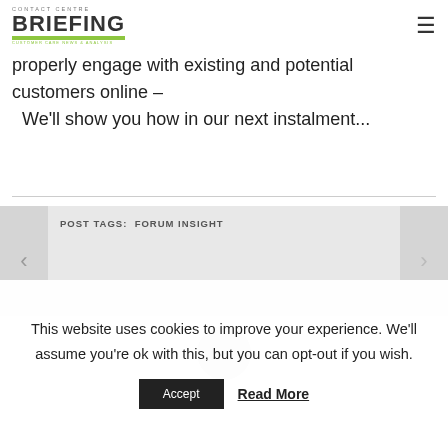CONTACT CENTRE BRIEFING
properly engage with existing and potential customers online – We'll show you how in our next instalment...
POST TAGS:  FORUM INSIGHT
[Figure (other): Gray circular avatar placeholder]
This website uses cookies to improve your experience. We'll assume you're ok with this, but you can opt-out if you wish.
Accept  Read More